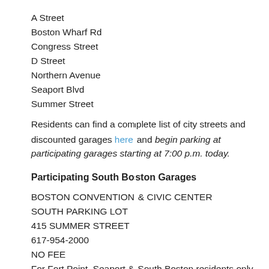A Street
Boston Wharf Rd
Congress Street
D Street
Northern Avenue
Seaport Blvd
Summer Street
Residents can find a complete list of city streets and discounted garages here and begin parking at participating garages starting at 7:00 p.m. today.
Participating South Boston Garages
BOSTON CONVENTION & CIVIC CENTER
SOUTH PARKING LOT
415 SUMMER STREET
617-954-2000
NO FEE
For Fort Point, Seaport & South Boston residents only.